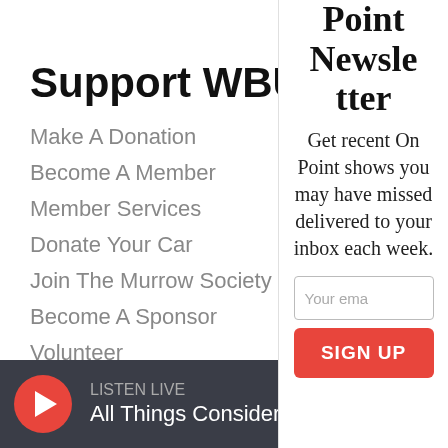Support WBUR
Make A Donation
Become A Member
Member Services
Donate Your Car
Join The Murrow Society
Become A Sponsor
Volunteer
Point Newsletter
Get recent On Point shows you may have missed delivered to your inbox each week.
LISTEN LIVE
All Things Considered